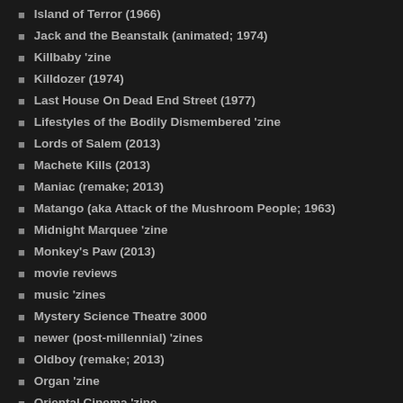Island of Terror (1966)
Jack and the Beanstalk (animated; 1974)
Killbaby 'zine
Killdozer (1974)
Last House On Dead End Street (1977)
Lifestyles of the Bodily Dismembered 'zine
Lords of Salem (2013)
Machete Kills (2013)
Maniac (remake; 2013)
Matango (aka Attack of the Mushroom People; 1963)
Midnight Marquee 'zine
Monkey's Paw (2013)
movie reviews
music 'zines
Mystery Science Theatre 3000
newer (post-millennial) 'zines
Oldboy (remake; 2013)
Organ 'zine
Oriental Cinema 'zine
Peardrop 'zine
Peter Cushing: A Life In Film
Pickman's (2013)